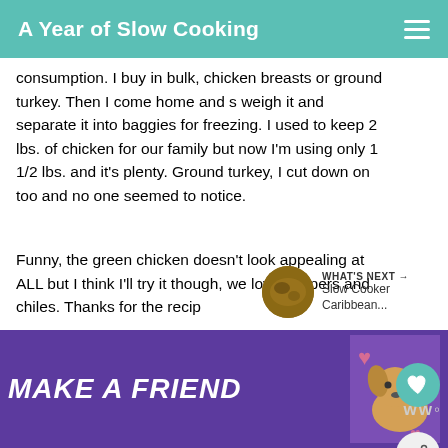A Year of Slow Cooking
consumption. I buy in bulk, chicken breasts or ground turkey. Then I come home and s weigh it and separate it into baggies for freezing. I used to keep 2 lbs. of chicken for our family but now I'm using only 1 1/2 lbs. and it's plenty. Ground turkey, I cut down on too and no one seemed to notice.
Funny, the green chicken doesn't look appealing at ALL but I think I'll try it though, we love peppers and chiles. Thanks for the recip
DELETE
[Figure (other): What's Next section with thumbnail image of Slow Cooker Caribbean dish]
[Figure (other): Advertisement banner: MAKE A FRIEND with dog image and purple background]